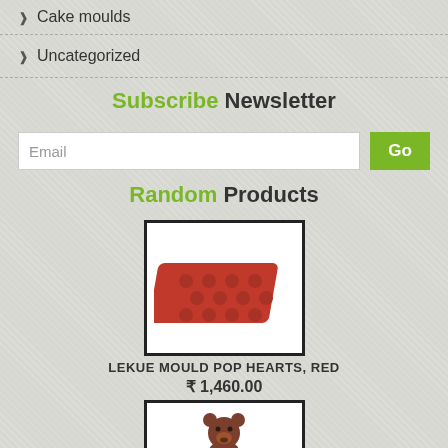Cake moulds
Uncategorized
Subscribe Newsletter
Email
Random Products
[Figure (photo): Red silicone mould with heart-shaped cavities (Lekue Mould Pop Hearts, Red)]
LEKUE MOULD POP HEARTS, RED
₹ 1,460.00
[Figure (photo): Brown bear-shaped silicone mould product]